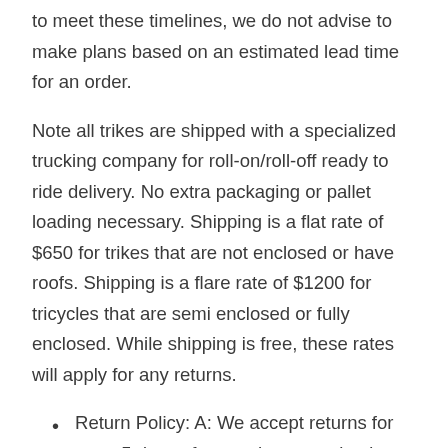to meet these timelines, we do not advise to make plans based on an estimated lead time for an order.
Note all trikes are shipped with a specialized trucking company for roll-on/roll-off ready to ride delivery. No extra packaging or pallet loading necessary. Shipping is a flat rate of $650 for trikes that are not enclosed or have roofs. Shipping is a flare rate of $1200 for tricycles that are semi enclosed or fully enclosed. While shipping is free, these rates will apply for any returns.
Return Policy: A: We accept returns for up to 5 days after you have received your